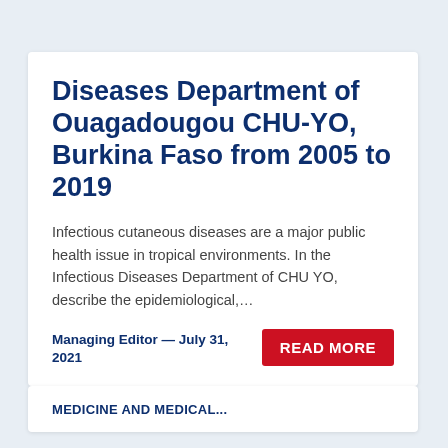Diseases Department of Ouagadougou CHU-YO, Burkina Faso from 2005 to 2019
Infectious cutaneous diseases are a major public health issue in tropical environments. In the Infectious Diseases Department of CHU YO, describe the epidemiological,…
Managing Editor — July 31, 2021